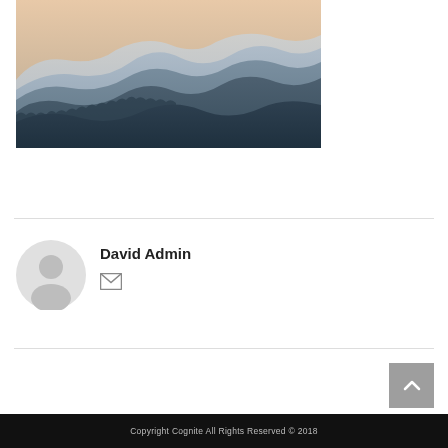[Figure (illustration): Misty layered mountain range landscape with blue-grey mountains fading into a warm peachy sky]
David Admin
[Figure (illustration): Circular grey default user avatar/profile icon]
[Figure (illustration): Envelope/mail icon in grey]
[Figure (illustration): Scroll to top button with upward chevron arrow, grey background]
Copyright Cognite All Rights Reserved © 2018